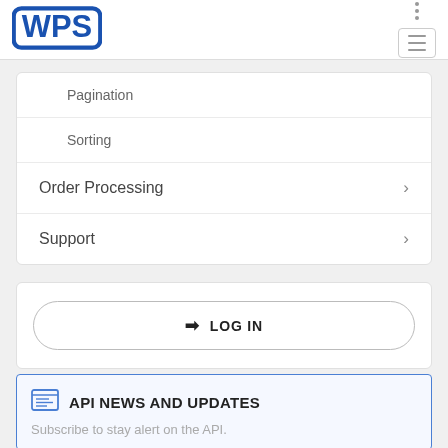[Figure (logo): WPS logo — blue rounded rectangle with white WPS letters]
Pagination
Sorting
Order Processing
Support
➜ LOG IN
API NEWS AND UPDATES
Subscribe to stay alert on the API.